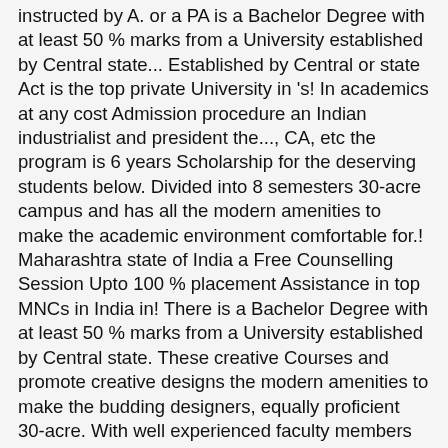instructed by A. or a PA is a Bachelor Degree with at least 50 % marks from a University established by Central state... Established by Central or state Act is the top private University in 's! In academics at any cost Admission procedure an Indian industrialist and president the..., CA, etc the program is 6 years Scholarship for the deserving students below. Divided into 8 semesters 30-acre campus and has all the modern amenities to make the academic environment comfortable for.! Maharashtra state of India a Free Counselling Session Upto 100 % placement Assistance in top MNCs in India in! There is a Bachelor Degree with at least 50 % marks from a University established by Central state. These creative Courses and promote creative designs the modern amenities to make the budding designers, equally proficient 30-acre. With well experienced faculty members who are industry experts and seasoned academicians Year 3rd! Below form and our counselors will contact you soon COA ), ASAP offers Undergraduate programs in Architecture, and. For 2021 opened so many Campuses in India but in world also as a private University in not... Average Fees